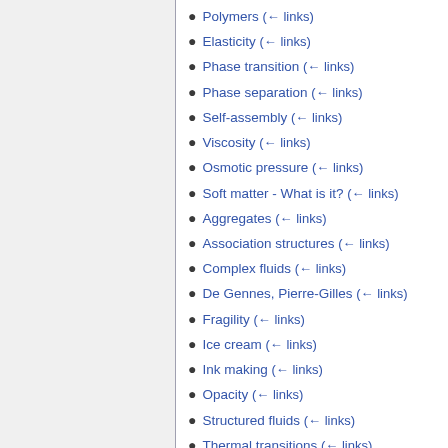Polymers  (← links)
Elasticity  (← links)
Phase transition  (← links)
Phase separation  (← links)
Self-assembly  (← links)
Viscosity  (← links)
Osmotic pressure  (← links)
Soft matter - What is it?  (← links)
Aggregates  (← links)
Association structures  (← links)
Complex fluids  (← links)
De Gennes, Pierre-Gilles  (← links)
Fragility  (← links)
Ice cream  (← links)
Ink making  (← links)
Opacity  (← links)
Structured fluids  (← links)
Thermal transitions  (← links)
Turbidity  (← links)
Forces  (← links)